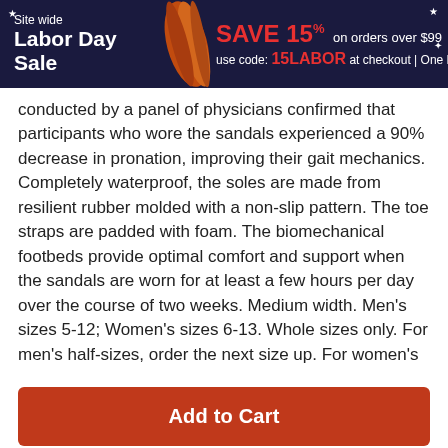Site wide Labor Day Sale — SAVE 15% on orders over $99 use code: 15LABOR at checkout | One Day Only
conducted by a panel of physicians confirmed that participants who wore the sandals experienced a 90% decrease in pronation, improving their gait mechanics. Completely waterproof, the soles are made from resilient rubber molded with a non-slip pattern. The toe straps are padded with foam. The biomechanical footbeds provide optimal comfort and support when the sandals are worn for at least a few hours per day over the course of two weeks. Medium width. Men's sizes 5-12; Women's sizes 6-13. Whole sizes only. For men's half-sizes, order the next size up. For women's
Add to Cart